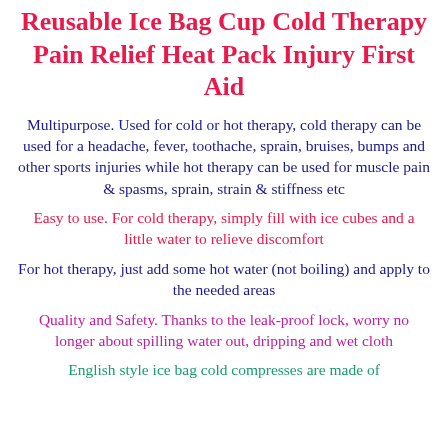Reusable Ice Bag Cup Cold Therapy Pain Relief Heat Pack Injury First Aid
Multipurpose. Used for cold or hot therapy, cold therapy can be used for a headache, fever, toothache, sprain, bruises, bumps and other sports injuries while hot therapy can be used for muscle pain & spasms, sprain, strain & stiffness etc
Easy to use. For cold therapy, simply fill with ice cubes and a little water to relieve discomfort
For hot therapy, just add some hot water (not boiling) and apply to the needed areas
Quality and Safety. Thanks to the leak-proof lock, worry no longer about spilling water out, dripping and wet cloth
English style ice bag cold compresses are made of